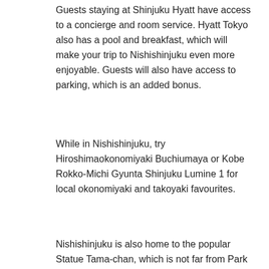Guests staying at Shinjuku Hyatt have access to a concierge and room service. Hyatt Tokyo also has a pool and breakfast, which will make your trip to Nishishinjuku even more enjoyable. Guests will also have access to parking, which is an added bonus.
While in Nishishinjuku, try Hiroshimaokonomiyaki Buchiumaya or Kobe Rokko-Michi Gyunta Shinjuku Lumine 1 for local okonomiyaki and takoyaki favourites.
Nishishinjuku is also home to the popular Statue Tama-chan, which is not far from Park Hyatt.
[Figure (photo): A dusk/evening photo showing a building or hotel structure with illuminated lights at the bottom, a hillside with vegetation in the middle, and a blue twilight sky above.]